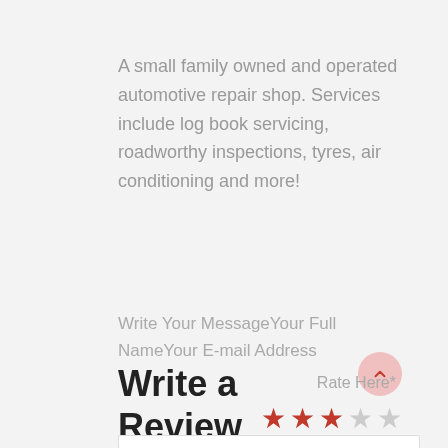A small family owned and operated automotive repair shop. Services include log book servicing, roadworthy inspections, tyres, air conditioning and more!
Write Your MessageYour Full NameYour E-mail Address
Write a Review
Rate Here*